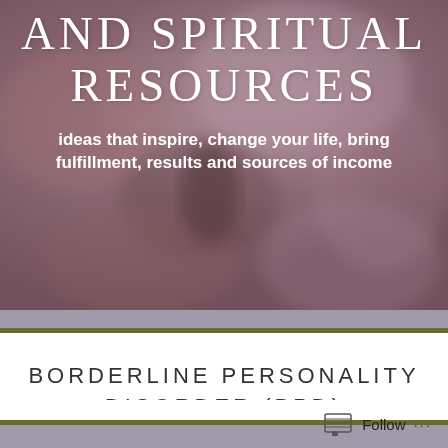[Figure (photo): Blurred pinkish-mauve rocky background image forming the hero banner background]
AND SPIRITUAL RESOURCES
ideas that inspire, change your life, bring fulfillment, results and sources of income
BORDERLINE PERSONALITY DISORDER (BPD)
Follow ...